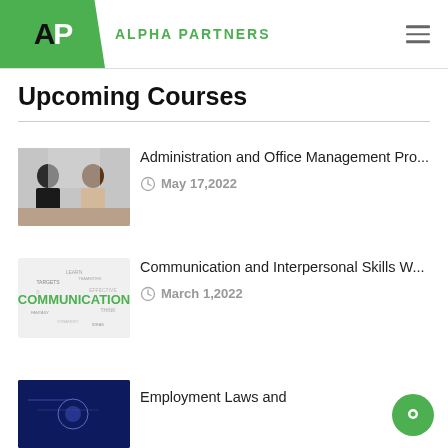ALPHA PARTNERS
Upcoming Courses
[Figure (photo): Two business professionals, a man and a woman, sitting at a desk in discussion]
Administration and Office Management Pro...
May 17,2022
[Figure (photo): Word cloud centered on the word COMMUNICATION in bold, surrounded by related words]
Communication and Interpersonal Skills W...
March 1,2022
[Figure (photo): Dark blue themed image, partially visible, for Employment Laws course]
Employment Laws and